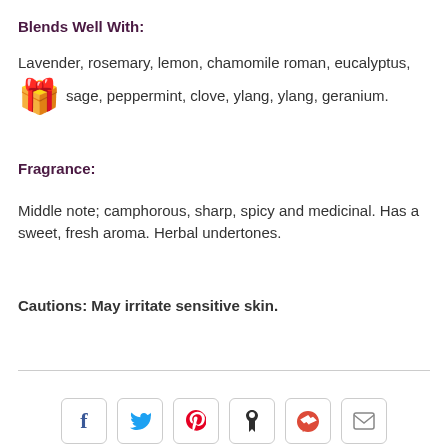Blends Well With:
Lavender, rosemary, lemon, chamomile roman, eucalyptus, sage, peppermint, clove, ylang, ylang, geranium.
Fragrance:
Middle note; camphorous, sharp, spicy and medicinal. Has a sweet, fresh aroma. Herbal undertones.
Cautions: May irritate sensitive skin.
[Figure (other): Social sharing buttons: Facebook, Twitter, Pinterest, unknown, Google+, Email]